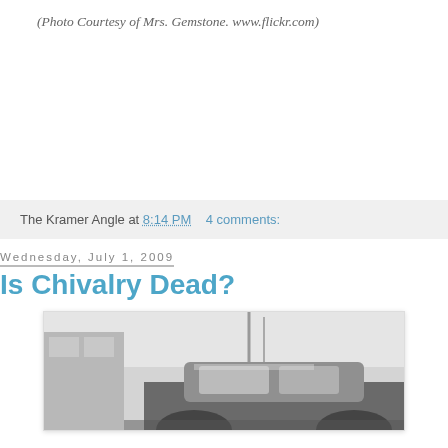(Photo Courtesy of Mrs. Gemstone. www.flickr.com)
The Kramer Angle at 8:14 PM    4 comments:
Wednesday, July 1, 2009
Is Chivalry Dead?
[Figure (photo): Black and white vintage photograph showing what appears to be an old car, partially visible at the bottom of the page.]